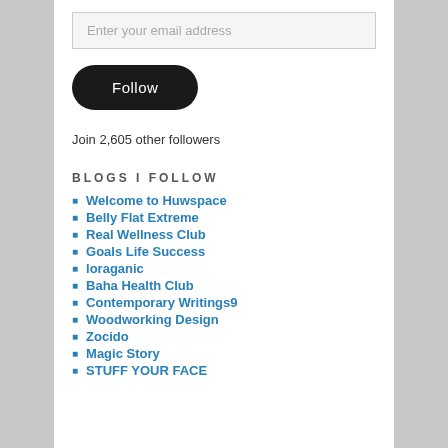Enter your email address
Follow
Join 2,605 other followers
BLOGS I FOLLOW
Welcome to Huwspace
Belly Flat Extreme
Real Wellness Club
Goals Life Success
loraganic
Baha Health Club
Contemporary Writings9
Woodworking Design
Zocido
Magic Story
STUFF YOUR FACE